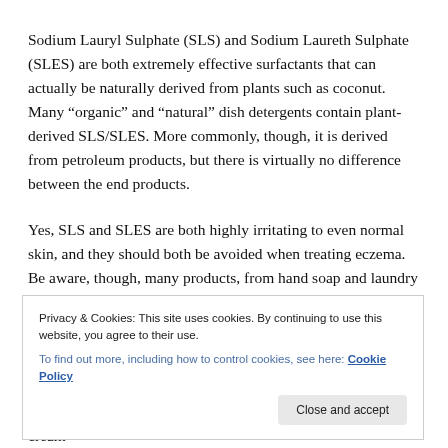Sodium Lauryl Sulphate (SLS) and Sodium Laureth Sulphate (SLES) are both extremely effective surfactants that can actually be naturally derived from plants such as coconut. Many “organic” and “natural” dish detergents contain plant-derived SLS/SLES. More commonly, though, it is derived from petroleum products, but there is virtually no difference between the end products.
Yes, SLS and SLES are both highly irritating to even normal skin, and they should both be avoided when treating eczema. Be aware, though, many products, from hand soap and laundry detergents to women’s make up,contain these chemicals and the labels do not always have to state the contents. The “link to
Privacy & Cookies: This site uses cookies. By continuing to use this website, you agree to their use.
To find out more, including how to control cookies, see here: Cookie Policy
eczema can do is try to prevent flare-ups, use of aqueous cream